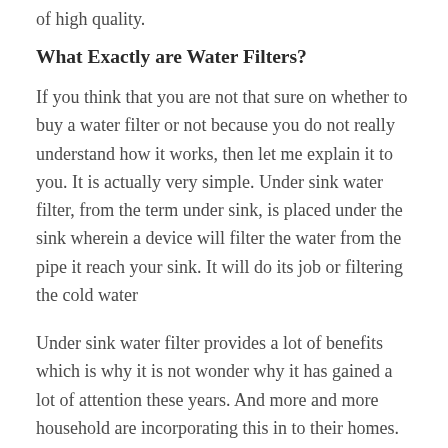of high quality.
What Exactly are Water Filters?
If you think that you are not that sure on whether to buy a water filter or not because you do not really understand how it works, then let me explain it to you. It is actually very simple. Under sink water filter, from the term under sink, is placed under the sink wherein a device will filter the water from the pipe it reach your sink. It will do its job or filtering the cold water
Under sink water filter provides a lot of benefits which is why it is not wonder why it has gained a lot of attention these years. And more and more household are incorporating this in to their homes.